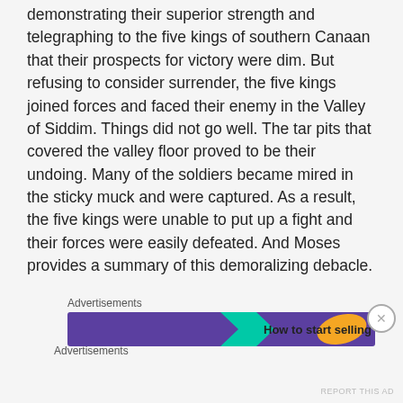demonstrating their superior strength and telegraphing to the five kings of southern Canaan that their prospects for victory were dim. But refusing to consider surrender, the five kings joined forces and faced their enemy in the Valley of Siddim. Things did not go well. The tar pits that covered the valley floor proved to be their undoing. Many of the soldiers became mired in the sticky muck and were captured. As a result, the five kings were unable to put up a fight and their forces were easily defeated. And Moses provides a summary of this demoralizing debacle.
Advertisements
[Figure (infographic): Advertisement banner with purple background, teal arrow shape, orange blob shape, and text 'How to start selling']
Advertisements